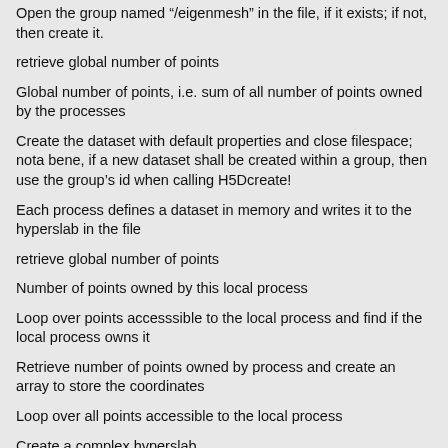Open the group named "/eigenmesh" in the file, if it exists; if not, then create it.
retrieve global number of points
Global number of points, i.e. sum of all number of points owned by the processes
Create the dataset with default properties and close filespace; nota bene, if a new dataset shall be created within a group, then use the group's id when calling H5Dcreate!
Each process defines a dataset in memory and writes it to the hyperslab in the file
retrieve global number of points
Number of points owned by this local process
Loop over points accesssible to the local process and find if the local process owns it
Retrieve number of points owned by process and create an array to store the coordinates
Loop over all points accessible to the local process
Create a complex hyperslab
Select the hyperslab within the file